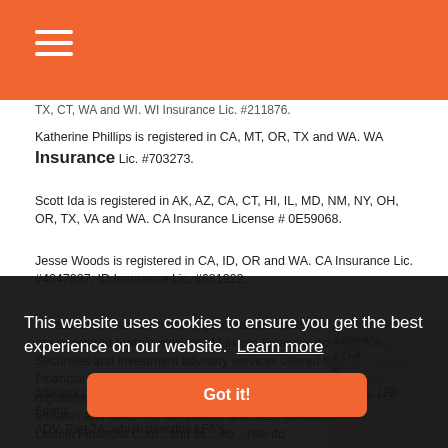Navigation header with orange background and hamburger menu icon
TX, CT, WA and WI. WI Insurance Lic. #211876.
Katherine Phillips is registered in CA, MT, OR, TX and WA. WA Insurance Lic. #703273.
Scott Ida is registered in AK, AZ, CA, CT, HI, IL, MD, NM, NY, OH, OR, TX, VA and WA. CA Insurance License # 0E59068.
Jesse Woods is registered in CA, ID, OR and WA. CA Insurance Lic. #4047887, ID Insurance Lic. #681922.
Unless otherwise identified, registered associates on this website are registered representatives of Lincoln Financial Advisors Corp. Securities and investment advisory services offered through Lincoln Financial Advisors Corp., a broker/dealer (member SIPC) and a registered investment advisor. Insurance offered through Lincoln affiliates and other fine companies and state variations thereof. Lincoln Financial Corp...and its ...ed ...nse do
...summary, ...s LFA ...st, ...forms ADV, Part 2A, which describe LFA's
[Figure (screenshot): Cookie consent banner overlay with dark background reading 'This website uses cookies to ensure you get the best experience on our website. Learn more' with a 'Got it!' orange button]